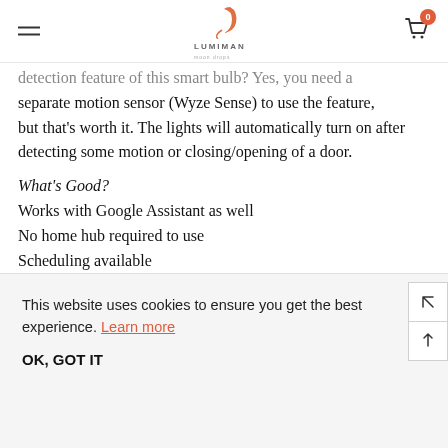LUMIMAN (logo)
detection feature of this smart bulb? Yes, you need a separate motion sensor (Wyze Sense) to use the feature, but that's worth it. The lights will automatically turn on after detecting some motion or closing/opening of a door.
What's Good?
Works with Google Assistant as well
No home hub required to use
Scheduling available
Multiple color options
Adjustable brightness and temperature
This website uses cookies to ensure you get the best experience. Learn more
OK, GOT IT